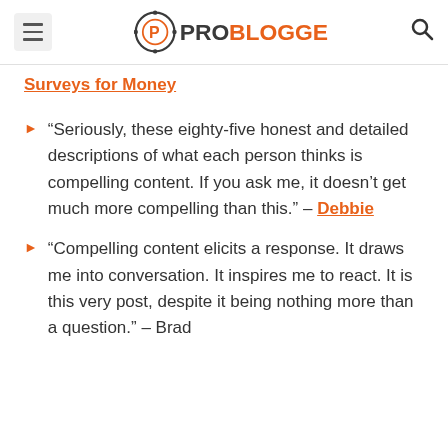ProBlogger
Surveys for Money
“Seriously, these eighty-five honest and detailed descriptions of what each person thinks is compelling content. If you ask me, it doesn’t get much more compelling than this.” – Debbie
“Compelling content elicits a response. It draws me into conversation. It inspires me to react. It is this very post, despite it being nothing more than a question.” – Brad